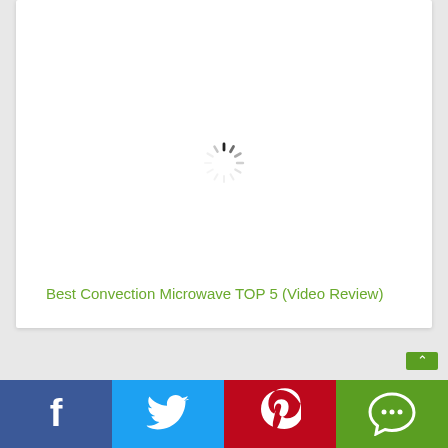[Figure (other): Loading spinner (circular dashed animation indicator) on white card background]
Best Convection Microwave TOP 5 (Video Review)
[Figure (other): Social media share bar with Facebook (blue), Twitter (light blue), Pinterest (red), and chat/share (green with up arrow tab) buttons]